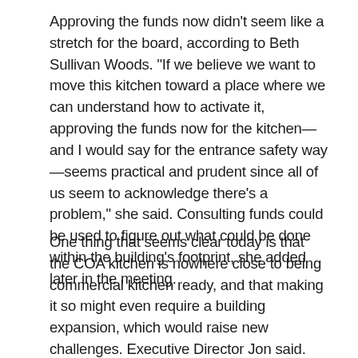Approving the funds now didn't seem like a stretch for the board, according to Beth Sullivan Woods. "If we believe we want to move this kitchen toward a place where we can understand how to activate it, approving the funds now for the kitchen—and I would say for the entrance safety way—seems practical and prudent since all of us seem to acknowledge there's a problem," she said. Consulting funds could be used to figure out what could be done within the building's footprint, she added later in the meeting.
One thing that seems clear today is that the COA kitchen is nowhere close to being commercial kitchen ready, and that making it so might even require a building expansion, which would raise new challenges. Executive Director Jon said. "That design as